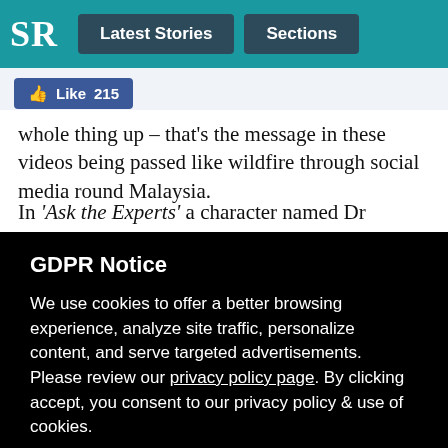SR | Latest Stories | Sections
[Figure (screenshot): Facebook Like button showing 215 likes]
whole thing up – that's the message in these videos being passed like wildfire through social media round Malaysia.
In 'Ask the Experts' a character named Dr Andrew Kaufman
GDPR Notice
We use cookies to offer a better browsing experience, analyze site traffic, personalize content, and serve targeted advertisements. Please review our privacy policy page. By clicking accept, you consent to our privacy policy & use of cookies.
Preferences | Confirm all